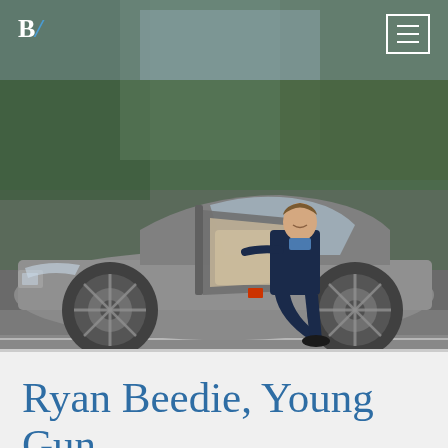B/
[Figure (photo): A man in a dark suit sitting in the open door of a silver sports car (Audi R8), smiling at the camera. The background shows blurred green trees. The photo is taken outdoors on a road.]
Ryan Beedie, Young Gun